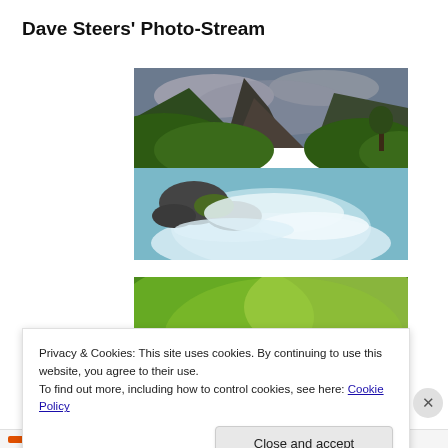Dave Steers' Photo-Stream
[Figure (photo): Landscape photo of a rushing river with white water rapids flowing through rocky terrain, surrounded by green hillsides and a dramatic cloudy sky with mountains in the background.]
[Figure (photo): Close-up macro photo of bright blue hydrangea flowers with soft green bokeh background.]
Privacy & Cookies: This site uses cookies. By continuing to use this website, you agree to their use.
To find out more, including how to control cookies, see here: Cookie Policy
Close and accept